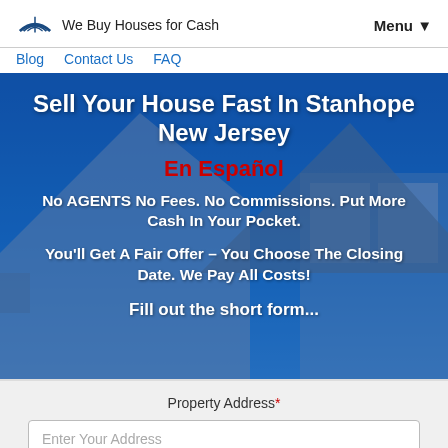We Buy Houses for Cash
Blog  Contact Us  FAQ  Menu ▼
Sell Your House Fast In Stanhope New Jersey
En Español
No AGENTS No Fees. No Commissions. Put More Cash In Your Pocket.
You'll Get A Fair Offer – You Choose The Closing Date. We Pay All Costs!
Fill out the short form...
Property Address*
Enter Your Address